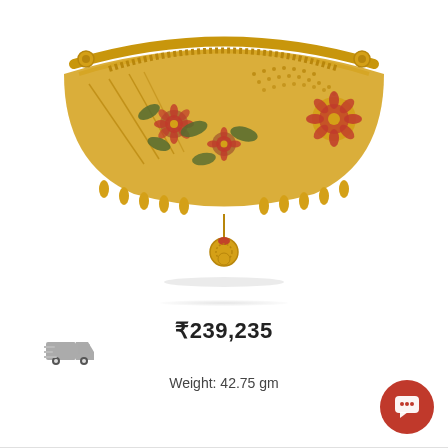[Figure (photo): A gold choker necklace with intricate filigree work, floral motifs with pink/red enamel flowers, dark green enamel leaves, dangling small gold drops along the bottom edge, and a central decorative pendant drop. The piece is wide and crescent-shaped, typical of Indian bridal jewelry.]
₹239,235
Weight: 42.75 gm